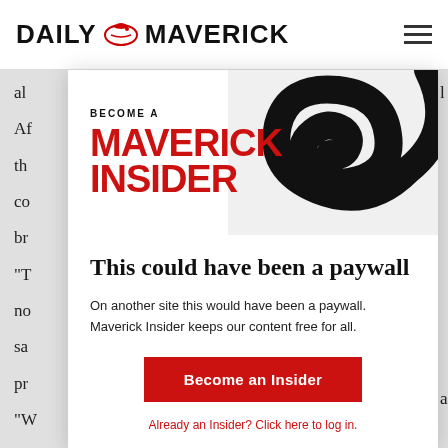DAILY MAVERICK
[Figure (logo): Daily Maverick logo with eagle icon]
al... Af... th... co... br...
[Figure (infographic): Become a Maverick Insider banner with large red text and decorative swirl graphic]
"T... no... sa... pr... "W... m... Re... pa...
This could have been a paywall
On another site this would have been a paywall. Maverick Insider keeps our content free for all.
Become an Insider
Already an Insider? Click here to log in.